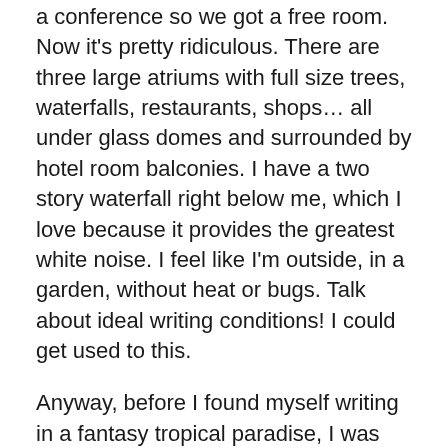a conference so we got a free room. Now it’s pretty ridiculous. There are three large atriums with full size trees, waterfalls, restaurants, shops… all under glass domes and surrounded by hotel room balconies. I have a two story waterfall right below me, which I love because it provides the greatest white noise. I feel like I’m outside, in a garden, without heat or bugs. Talk about ideal writing conditions! I could get used to this.
Anyway, before I found myself writing in a fantasy tropical paradise, I was hitting the streets of Nashville looking for antiques. I didn’t get to see a lot, but I did visit the 8th Ave. South area. This is considered one of the main Antique districts in the city. The first place I looked, Classic Modern, was also one of my favourites. It had a great selection of vintage (1950s – 1970s) furniture and accessories, as well as antiques from the 19th century,